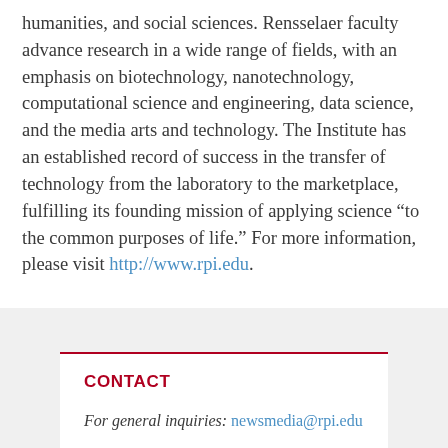humanities, and social sciences. Rensselaer faculty advance research in a wide range of fields, with an emphasis on biotechnology, nanotechnology, computational science and engineering, data science, and the media arts and technology. The Institute has an established record of success in the transfer of technology from the laboratory to the marketplace, fulfilling its founding mission of applying science “to the common purposes of life.” For more information, please visit http://www.rpi.edu.
CONTACT
For general inquiries: newsmedia@rpi.edu